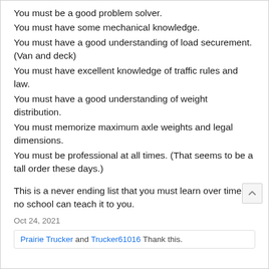You must be a good problem solver.
You must have some mechanical knowledge.
You must have a good understanding of load securement. (Van and deck)
You must have excellent knowledge of traffic rules and law.
You must have a good understanding of weight distribution.
You must memorize maximum axle weights and legal dimensions.
You must be professional at all times. (That seems to be a tall order these days.)
This is a never ending list that you must learn over time, no school can teach it to you.
Oct 24, 2021
Prairie Trucker and Trucker61016 Thank this.